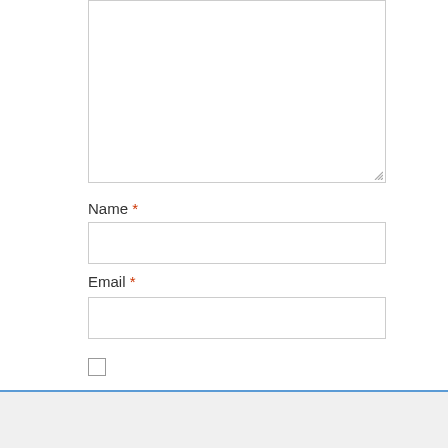[Figure (screenshot): Web form textarea input box (empty, with resize handle at bottom right)]
Name *
[Figure (screenshot): Web form text input field for Name]
Email *
[Figure (screenshot): Web form text input field for Email]
[Figure (screenshot): Checkbox input (partially visible)]
Search for
1. Antibiotics For UTI
2. Mrsa Antibiotic Treatments